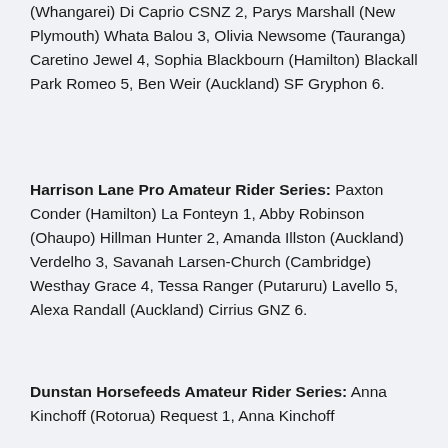(Whangarei) Di Caprio CSNZ 2, Parys Marshall (New Plymouth) Whata Balou 3, Olivia Newsome (Tauranga) Caretino Jewel 4, Sophia Blackbourn (Hamilton) Blackall Park Romeo 5, Ben Weir (Auckland) SF Gryphon 6.
Harrison Lane Pro Amateur Rider Series: Paxton Conder (Hamilton) La Fonteyn 1, Abby Robinson (Ohaupo) Hillman Hunter 2, Amanda Illston (Auckland) Verdelho 3, Savanah Larsen-Church (Cambridge) Westhay Grace 4, Tessa Ranger (Putaruru) Lavello 5, Alexa Randall (Auckland) Cirrius GNZ 6.
Dunstan Horsefeeds Amateur Rider Series: Anna Kinchoff (Rotorua) Request 1, Anna Kinchoff